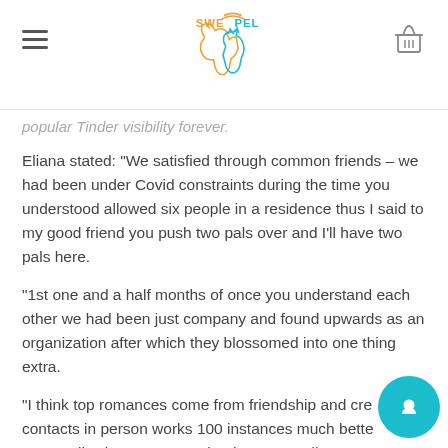SWE PEL logo with hamburger menu and basket icon
popular Tinder visibility forever.
Eliana stated: "We satisfied through common friends – we had been under Covid constraints during the time you understood allowed six people in a residence thus I said to my good friend you push two pals over and I'll have two pals here.
"1st one and a half months of once you understand each other we had been just company and found upwards as an organization after which they blossomed into one thing extra.
"I think top romances come from friendship and cre contacts in person works 100 instances much bette personally since you see who they are to discover